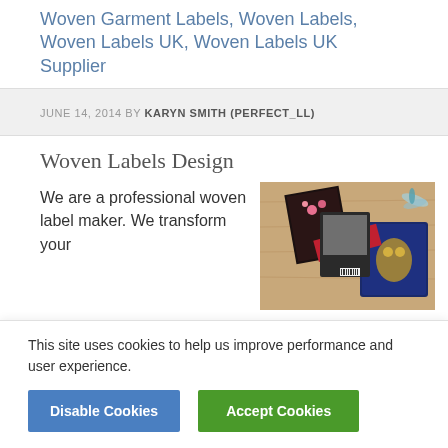Woven Garment Labels, Woven Labels, Woven Labels UK, Woven Labels UK Supplier
JUNE 14, 2014 BY KARYN SMITH (PERFECT_LL)
Woven Labels Design
We are a professional woven label maker. We transform your
[Figure (photo): Photo of various woven labels and patches laid out on a wooden surface, including decorative patches with flowers, a dragonfly, and ornate designs.]
This site uses cookies to help us improve performance and user experience.